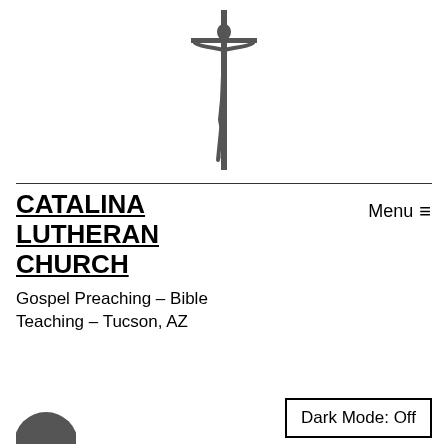[Figure (illustration): Crucifix symbol — cross with figure of Christ, dark gray, centered at top of page]
CATALINA LUTHERAN CHURCH
Gospel Preaching – Bible Teaching – Tucson, AZ
Menu ≡
Dark Mode: Off